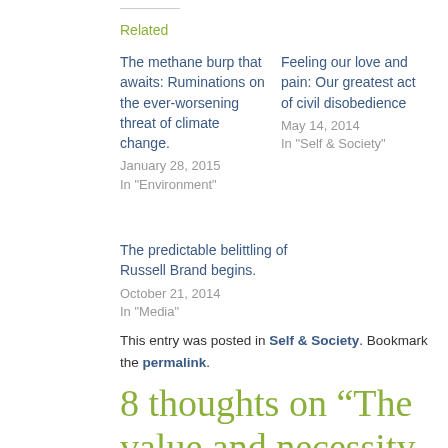Related
The methane burp that awaits: Ruminations on the ever-worsening threat of climate change.
January 28, 2015
In "Environment"
Feeling our love and pain: Our greatest act of civil disobedience
May 14, 2014
In "Self & Society"
The predictable belittling of Russell Brand begins.
October 21, 2014
In "Media"
This entry was posted in Self & Society. Bookmark the permalink.
8 thoughts on “The value and necessity of